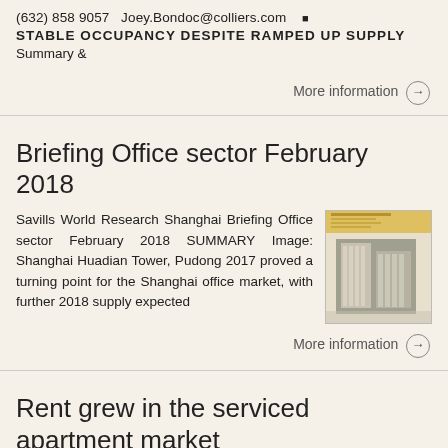(632) 858 9057  Joey.Bondoc@colliers.com
STABLE OCCUPANCY DESPITE RAMPED UP SUPPLY
Summary &
More information →
Briefing Office sector February 2018
Savills World Research Shanghai Briefing Office sector February 2018 SUMMARY Image: Shanghai Huadian Tower, Pudong 2017 proved a turning point for the Shanghai office market, with further 2018 supply expected
[Figure (photo): Thumbnail image of a Savills office sector briefing document cover showing a building]
More information →
Rent grew in the serviced apartment market
Colliers Quarterly Q4 2016 13 January 2017 BEIJING RESIDENTIAL Rent grew in the
[Figure (photo): Thumbnail image of a Colliers quarterly report cover]